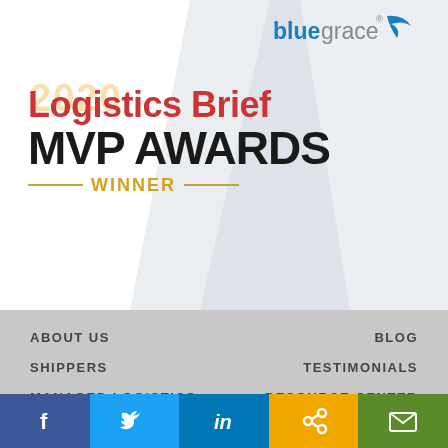[Figure (logo): BlueGrace logo with blue text and arrow swoosh icon, top right of banner]
2020 Logistics Brief MVP AWARDS WINNER
ABOUT US
BLOG
SHIPPERS
TESTIMONIALS
MANAGED LOGISTICS
RESOURCE CENTER
CARRIERS
CUSTOMER LOGIN